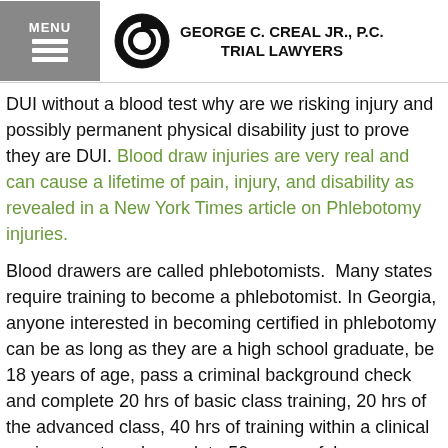GEORGE C. CREAL JR., P.C. TRIAL LAWYERS
DUI without a blood test why are we risking injury and possibly permanent physical disability just to prove they are DUI. Blood draw injuries are very real and can cause a lifetime of pain, injury, and disability as revealed in a New York Times article on Phlebotomy injuries.
Blood drawers are called phlebotomists.  Many states require training to become a phlebotomist. In Georgia, anyone interested in becoming certified in phlebotomy can be as long as they are a high school graduate, be 18 years of age, pass a criminal background check and complete 20 hrs of basic class training, 20 hrs of the advanced class, 40 hrs of training within a clinical environment, and complete 50 successful venipunctures and at least 10 blood draws using real people.  That is about as much